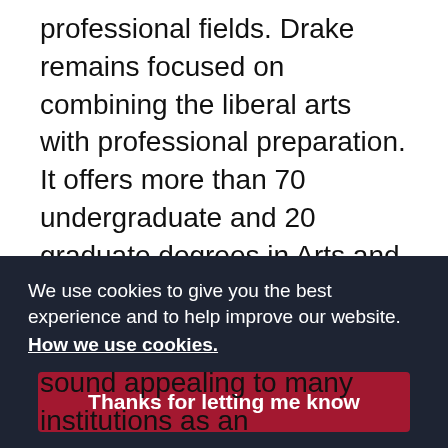professional fields. Drake remains focused on combining the liberal arts with professional preparation. It offers more than 70 undergraduate and 20 graduate degrees in Arts and Sciences, Business and Public Administration, Education, Journalism and Mass Communication, Law, and Pharmacy and Health Sciences. It is ranked as one of the top 10 midsized universities in the country by the Chronicle of Higher Education.
We use cookies to give you the best experience and to help improve our website. How we use cookies.
Thanks for letting me know
sound appealing to many institutions as an